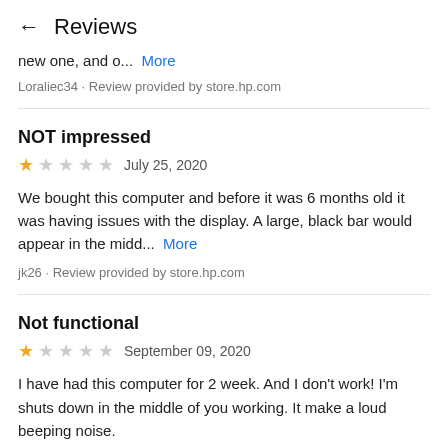← Reviews
new one, and o...  More
Loraliec34 · Review provided by store.hp.com
NOT impressed
★☆☆☆☆  July 25, 2020
We bought this computer and before it was 6 months old it was having issues with the display. A large, black bar would appear in the midd...  More
jk26 · Review provided by store.hp.com
Not functional
★☆☆☆☆  September 09, 2020
I have had this computer for 2 week. And I don't work! I'm shuts down in the middle of you working. It make a loud beeping noise.